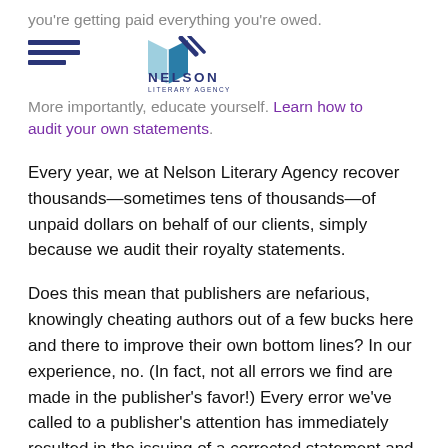you're getting paid everything you're owed.
[Figure (logo): Nelson Literary Agency logo with stacked horizontal lines on the left and a stylized book/pages graphic with the text NELSON LITERARY AGENCY]
More importantly, educate yourself. Learn how to audit your own statements.
Every year, we at Nelson Literary Agency recover thousands—sometimes tens of thousands—of unpaid dollars on behalf of our clients, simply because we audit their royalty statements.
Does this mean that publishers are nefarious, knowingly cheating authors out of a few bucks here and there to improve their own bottom lines? In our experience, no. (In fact, not all errors we find are made in the publisher's favor!) Every error we've called to a publisher's attention has immediately resulted in the issuing of a corrected statement and, when called for, a check covering the difference.